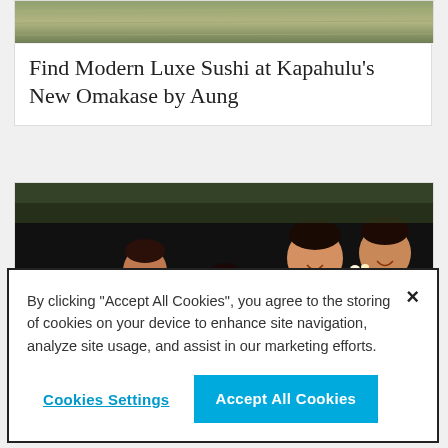[Figure (photo): Partial top image of a sushi or food scene, cropped at top of page]
Find Modern Luxe Sushi at Kapahulu’s New Omakase by Aung
[Figure (photo): Family of four (two adults and two children) sitting in movie theater seats, smiling and watching a film, with popcorn and drinks]
By clicking “Accept All Cookies”, you agree to the storing of cookies on your device to enhance site navigation, analyze site usage, and assist in our marketing efforts.
Cookies Settings
Accept All Cookies